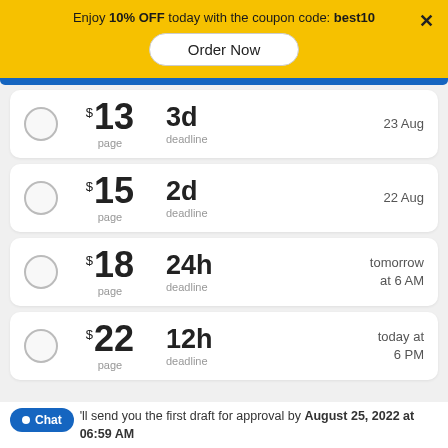Enjoy 10% OFF today with the coupon code: best10
Order Now
× (close button)
$13 per page, 3d deadline, 23 Aug
$15 per page, 2d deadline, 22 Aug
$18 per page, 24h deadline, tomorrow at 6 AM
$22 per page, 12h deadline, today at 6 PM
I'll send you the first draft for approval by August 25, 2022 at 06:59 AM